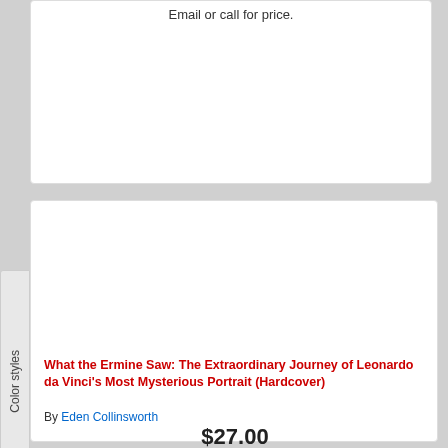Email or call for price.
[Figure (photo): Book cover of 'What the Ermine Saw: The Extraordinary Journey of Leonardo da Vinci's Most Mysterious Portrait' by Eden Collinsworth. Dark background with a Renaissance-style painting of a woman.]
What the Ermine Saw: The Extraordinary Journey of Leonardo da Vinci's Most Mysterious Portrait (Hardcover)
By Eden Collinsworth
$27.00
Add to Cart
Usually Ships in 1-5 Days